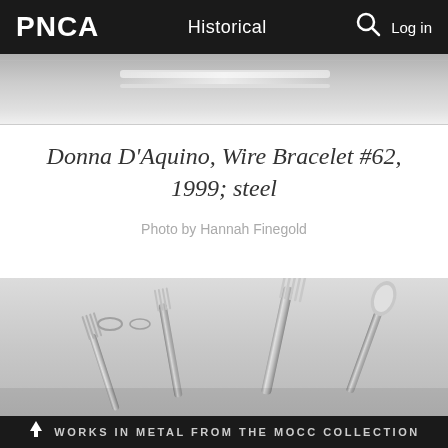PNCA  Historical  Log in
[Figure (photo): Partial top view of a metallic wire bracelet on a light grey background, cropped]
Donna D'Aquino, Wire Bracelet #62, 1999; steel
Photo by Hannah Finegold
[Figure (photo): Photograph of metallic forks and spoons arranged on a light grey background, partially cropped at bottom]
WORKS IN METAL FROM THE MOCC COLLECTION